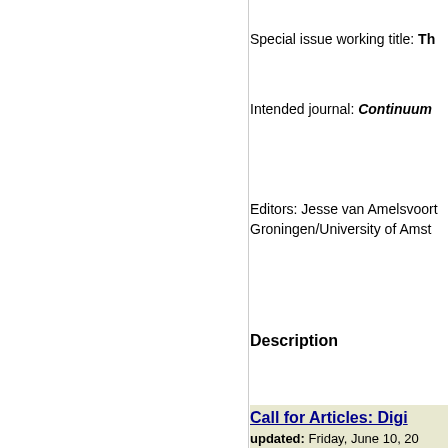Special issue working title: Th
Intended journal: Continuum
Editors: Jesse van Amelsvoort, Groningen/University of Amst
Description
Call for Articles: Digi
updated: Friday, June 10, 20
Emily Bell, University of Leeds
deadline for submiss
CALL FOR EXPRESSIONS O
projects in Dickens studies ov